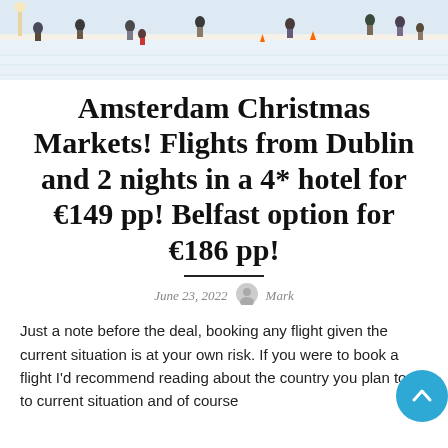[Figure (photo): People ice skating on an outdoor rink in winter, viewed from slightly elevated angle. Snow and winter scene.]
Amsterdam Christmas Markets! Flights from Dublin and 2 nights in a 4* hotel for €149 pp! Belfast option for €186 pp!
June 23, 2022  Mark
Just a note before the deal, booking any flight given the current situation is at your own risk. If you were to book a flight I'd recommend reading about the country you plan to fly to current situation and of course